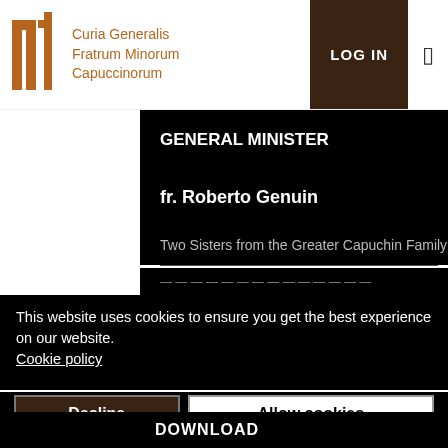Curia Generalis Fratrum Minorum Capuccinorum
GENERAL MINISTER
fr. Roberto Genuin
Two Sisters from the Greater Capuchin Family
This website uses cookies to ensure you get the best experience on our website. Cookie policy
Decline
Allow cookies
Cookie settings: Necessary | Statistics
DOWNLOAD